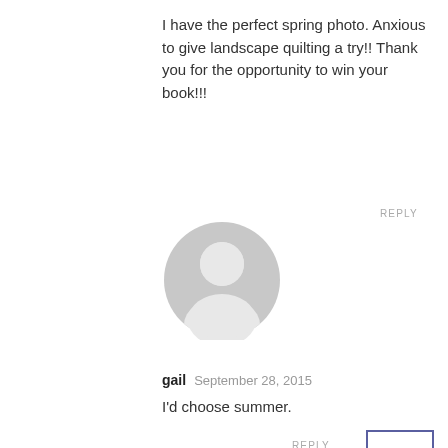I have the perfect spring photo. Anxious to give landscape quilting a try!! Thank you for the opportunity to win your book!!!
[Figure (illustration): Gray default user avatar icon (circular silhouette with head and shoulders)]
REPLY
gail  September 28, 2015
I'd choose summer.
REPLY
[Figure (illustration): Scroll to top button: square box with blue border containing upward arrow]
[Figure (illustration): Gray default user avatar icon (circular silhouette with head and shoulders)]